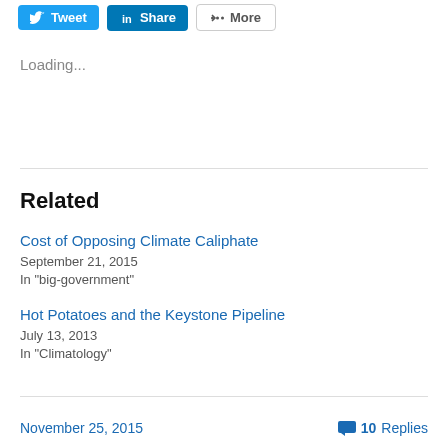[Figure (other): Social sharing buttons: Tweet (Twitter), Share (LinkedIn), More]
Loading...
Related
Cost of Opposing Climate Caliphate
September 21, 2015
In "big-government"
Hot Potatoes and the Keystone Pipeline
July 13, 2013
In "Climatology"
“I’ll See you in New York”
August 21, 2014
In "evil"
November 25, 2015
10 Replies